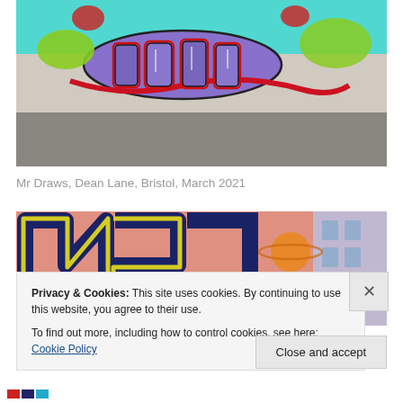[Figure (photo): Graffiti mural on a wall at Dean Lane, Bristol. Colorful street art with teal, purple, red, and green lettering/characters on a grey concrete wall with pavement in foreground.]
Mr Draws, Dean Lane, Bristol, March 2021
[Figure (photo): Graffiti mural with large dark blue lettering on a salmon/pink background. A building with windows is visible on the right side.]
Privacy & Cookies: This site uses cookies. By continuing to use this website, you agree to their use.
To find out more, including how to control cookies, see here: Cookie Policy
Close and accept